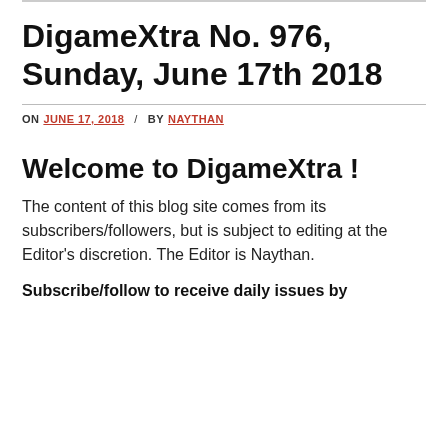DigameXtra No. 976, Sunday, June 17th 2018
ON JUNE 17, 2018 / BY NAYTHAN
Welcome to DigameXtra !
The content of this blog site comes from its subscribers/followers, but is subject to editing at the Editor's discretion. The Editor is Naythan.
Subscribe/follow to receive daily issues by